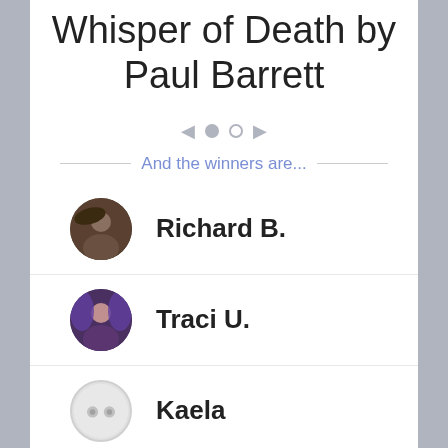Whisper of Death by Paul Barrett
And the winners are...
Richard B.
Traci U.
Kaela